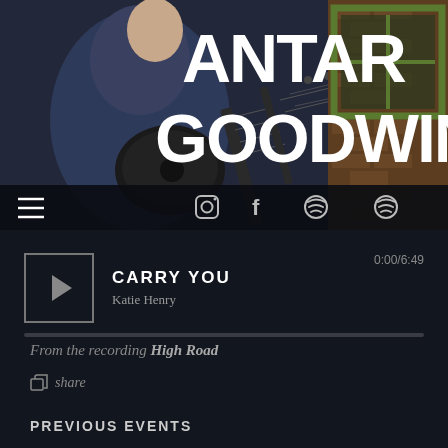[Figure (photo): Hero header image of a guitarist playing guitar with dark background, overlaid with large white bold text 'ANTAR GOODWIN'. Navigation bar with hamburger menu and social media icons (Instagram, Facebook, Spotify) at bottom of hero.]
CARRY YOU
Katie Henry
0:00/6:49
From the recording High Road
share
PREVIOUS EVENTS